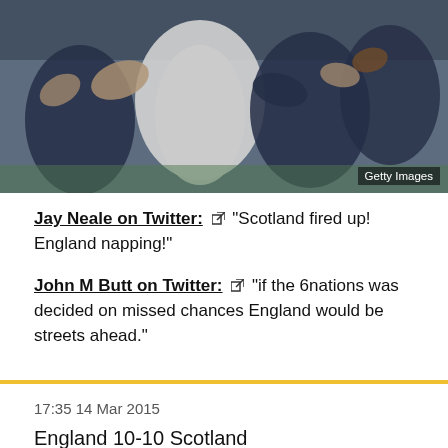[Figure (photo): Rugby match action photo showing players in a tackle/maul situation. Getty Images watermark in bottom right.]
Jay Neale on Twitter: “Scotland fired up! England napping!”
John M Butt on Twitter: “if the 6nations was decided on missed chances England would be streets ahead.”
17:35 14 Mar 2015
England 10-10 Scotland
Brian Moore
Former England hooker on BBC One